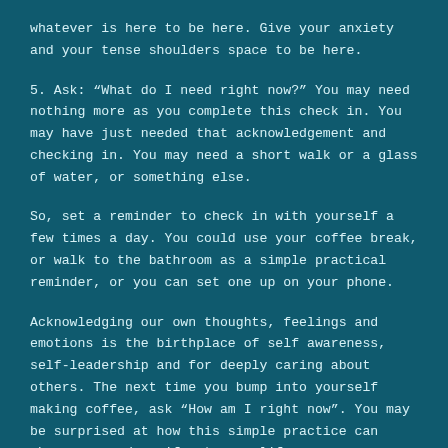whatever is here to be here. Give your anxiety and your tense shoulders space to be here.
5. Ask: “What do I need right now?” You may need nothing more as you complete this check in. You may have just needed that acknowledgement and checking in. You may need a short walk or a glass of water, or something else.
So, set a reminder to check in with yourself a few times a day. You could use your coffee break, or walk to the bathroom as a simple practical reminder, or you can set one up on your phone.
Acknowledging our own thoughts, feelings and emotions is the birthplace of self awareness, self-leadership and for deeply caring about others. The next time you bump into yourself making coffee, ask “How am I right now”. You may be surprised at how this simple practice can change your day, if not your life.